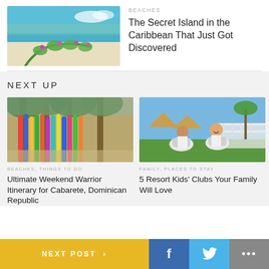[Figure (photo): Tropical beach with white sand, turquoise water, and green flowering plants with purple flowers]
BEACHES
The Secret Island in the Caribbean That Just Got Discovered
NEXT UP
[Figure (photo): Colorful surfboards leaning against trees on a beach in Cabarete, Dominican Republic]
BEACHES, THINGS TO DO
Ultimate Weekend Warrior Itinerary for Cabarete, Dominican Republic
[Figure (photo): Children laughing while riding on rocking horses at a resort kids club]
FAMILY, PLACES TO STAY
5 Resort Kids' Clubs Your Family Will Love
NEXT POST >
f
🐦
...